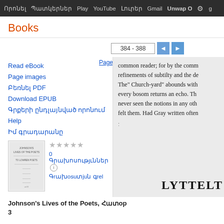Որոնել Պատկերներ Play YouTube Լուրեր Gmail Unwap O⚙g
Books
384 - 388
Page images  PDF  EPUB
Read eBook
Page images
Բեռնել PDF
Download EPUB
Գրքերի ընդլայնված որոնում
Help
Իմ գրադարանը
[Figure (illustration): Thumbnail of book cover for Johnson's Lives of the Poets]
★★★★★
0 Գրախոսությւններ ⓘ
Գրախոսություն գրել
common reader; for by the comm refinements of subtilty and the de The" Church-yard" abounds with every bosom returns an echo. Th never seen the notions in any oth felt them. Had Gray written often
LYTTELT
Johnson's Lives of the Poets, Հատոր 3